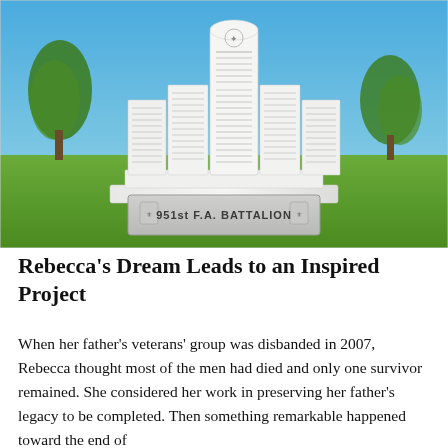[Figure (photo): Outdoor photograph of a white marble military memorial monument for the 951st F.A. Battalion. The monument has multiple upright panels engraved with names, with a large central panel rising above the others. A horizontal base sign reads '951st F.A. BATTALION' with military insignia on each side. The setting is a grassy field with trees and a blue sky.]
Rebecca's Dream Leads to an Inspired Project
When her father's veterans' group was disbanded in 2007, Rebecca thought most of the men had died and only one survivor remained. She considered her work in preserving her father's legacy to be completed. Then something remarkable happened toward the end of